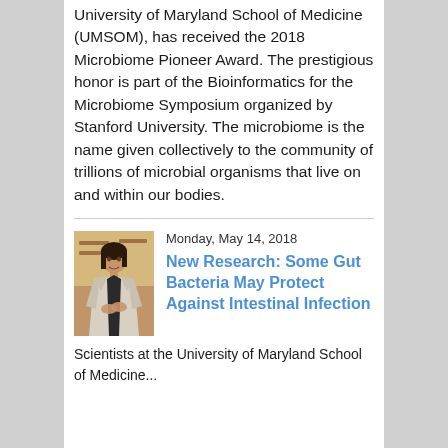University of Maryland School of Medicine (UMSOM), has received the 2018 Microbiome Pioneer Award. The prestigious honor is part of the Bioinformatics for the Microbiome Symposium organized by Stanford University. The microbiome is the name given collectively to the community of trillions of microbial organisms that live on and within our bodies.
[Figure (photo): Portrait photo of a woman in a laboratory setting, wearing a light blazer and dark top, standing with arms crossed.]
Monday, May 14, 2018
New Research: Some Gut Bacteria May Protect Against Intestinal Infection
Scientists at the University of Maryland School of Medicine...